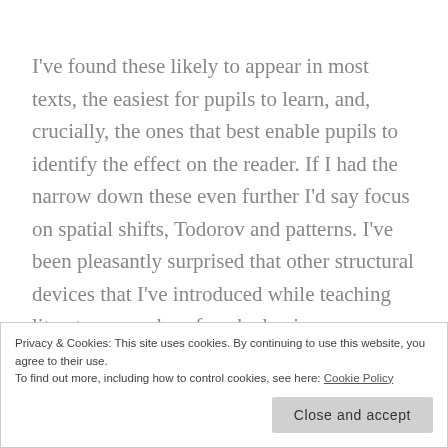I've found these likely to appear in most texts, the easiest for pupils to learn, and, crucially, the ones that best enable pupils to identify the effect on the reader. If I had the narrow down these even further I'd say focus on spatial shifts, Todorov and patterns. I've been pleasantly surprised that other structural devices that I've introduced while teaching literature – such as foreshadowing, anagnorosis, in media res, unreliable narrators etc. – have kept on appearing in
Privacy & Cookies: This site uses cookies. By continuing to use this website, you agree to their use.
To find out more, including how to control cookies, see here: Cookie Policy
Close and accept